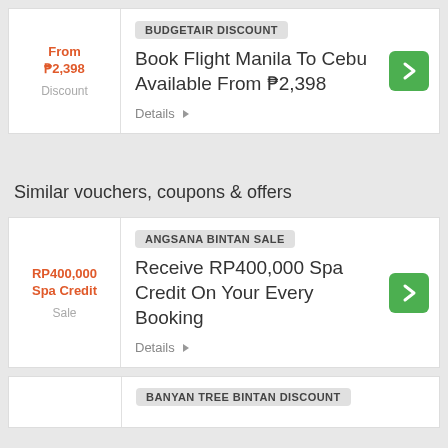From ₱2,398 Discount
BUDGETAIR DISCOUNT
Book Flight Manila To Cebu Available From ₱2,398
Details
Similar vouchers, coupons & offers
RRP400,000 Spa Credit Sale
ANGSANA BINTAN SALE
Receive RP400,000 Spa Credit On Your Every Booking
Details
BANYAN TREE BINTAN DISCOUNT